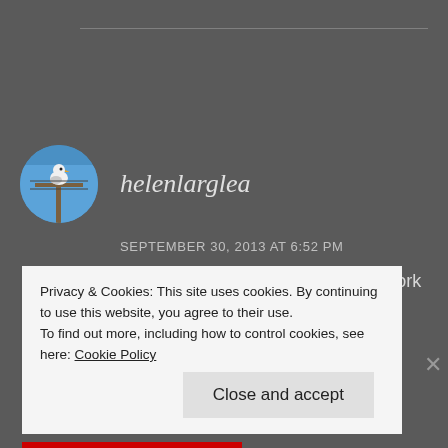[Figure (photo): Circular avatar image of a seagull perched on a pole against a blue sky background]
helenlarglea
SEPTEMBER 30, 2013 AT 6:52 PM
Intrigued...will be reading when I work out the applemac-reader-kit-thingy.
Privacy & Cookies: This site uses cookies. By continuing to use this website, you agree to their use. To find out more, including how to control cookies, see here: Cookie Policy
Close and accept